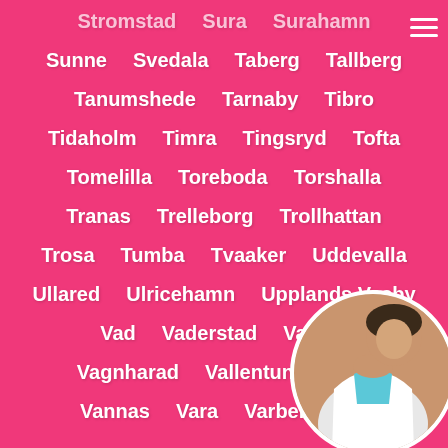Stromstad  Sura  Surahamn
Sunne  Svedala  Taberg  Tallberg
Tanumshede  Tarnaby  Tibro
Tidaholm  Timra  Tingsryd  Tofta
Tomelilla  Toreboda  Torshalla
Tranas  Trelleborg  Trollhattan
Trosa  Tumba  Tvaaker  Uddevalla
Ullared  Ulricehamn  Upplands Vasby
Vad  Vaderstad  Vadsta...
Vagnharad  Vallentuna  Va...
Vannas  Vara  Varberg  Va...
[Figure (photo): Circular photo of a woman in a white top, partially visible in the bottom-right corner]